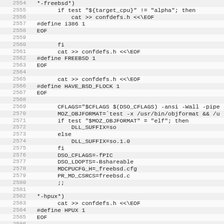Source code listing, lines 2554-2586, shell/configure script with FreeBSD and HPUX detection logic